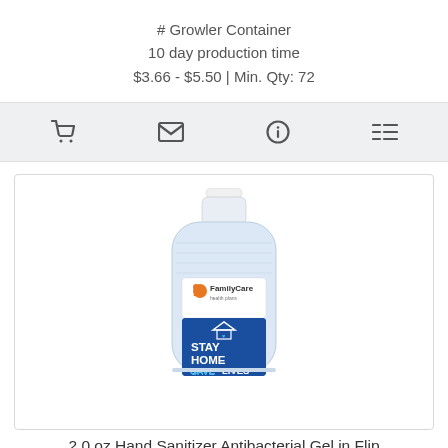# Growler Container
10 day production time
$3.66 - $5.50 | Min. Qty: 72
[Figure (infographic): Toolbar with four icons: shopping cart, envelope/email, info circle, and list/menu icon]
[Figure (photo): 2 oz hand sanitizer bottle with FamilyCare health plans label showing STAY HOME SAVE LIVES message]
2.0 oz Hand Sanitizer Antibacterial Gel in Flip